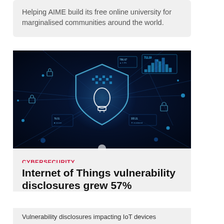Helping AIME build its free online university for marginalised communities around the world.
[Figure (photo): Cybersecurity concept image: dark blue digital background with glowing shield icon containing a padlock/lightbulb, surrounded by network nodes, data panels, and lock icons.]
CYBERSECURITY
Internet of Things vulnerability disclosures grew 57%
Vulnerability disclosures impacting IoT devices increased by 57% in the first half of 2022, compared to the previous